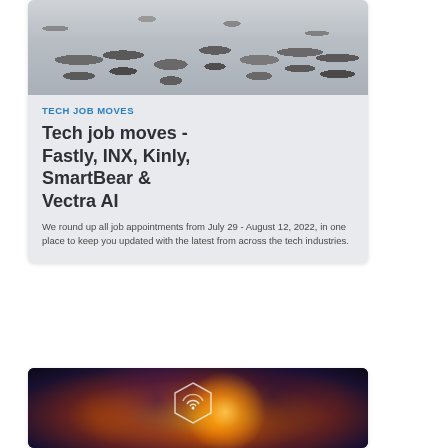[Figure (photo): Aerial/overhead view of people walking on a tiled floor]
TECH JOB MOVES
Tech job moves - Fastly, INX, Kinly, SmartBear & Vectra AI
We round up all job appointments from July 29 - August 12, 2022, in one place to keep you updated with the latest from across the tech industries.
[Figure (photo): Hands reaching toward glowing digital network icons and connectivity symbols, technology concept image]